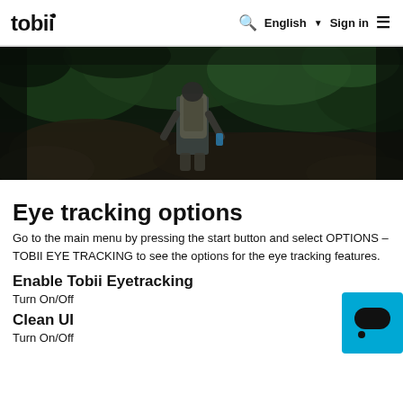tobii  🔍  English ▾  Sign in  ≡
[Figure (photo): A person with a backpack walking through a dense jungle/forest environment, viewed from behind. The scene is dark and atmospheric with lush green vegetation.]
Eye tracking options
Go to the main menu by pressing the start button and select OPTIONS – TOBII EYE TRACKING to see the options for the eye tracking features.
Enable Tobii Eyetracking
Turn On/Off
Clean UI
Turn On/Off